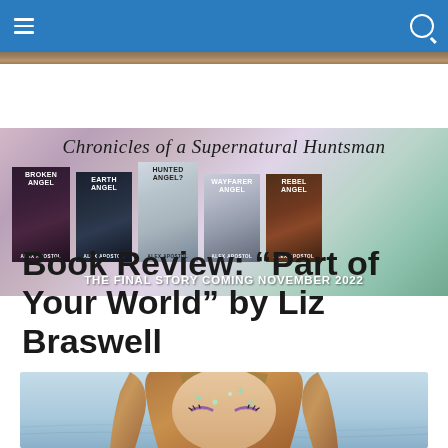Navigation bar with hamburger menu and search icon
[Figure (illustration): Chronicles of a Supernatural Huntsman book series banner showing 5 book covers: Broken Angel, Earth Angel, Hunted Angel, Wayfarer Angel, Rebel Angel by Alex Apostol. Text: 'THE FINAL STORY COMING NOVEMBER 2022']
Book Review: “Part of Your World” by Liz Braswell
[Figure (photo): Photo of a woman with mermaid-style makeup, glitter on face, wearing a crown/headpiece made of natural elements, eyes downcast, against a light blue background]